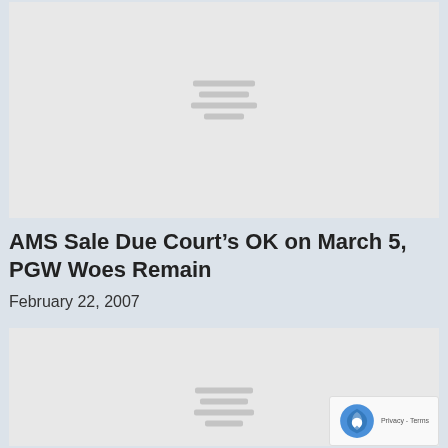[Figure (other): Gray placeholder card for an article image, showing loading lines in the center]
AMS Sale Due Court’s OK on March 5, PGW Woes Remain
February 22, 2007
[Figure (other): Gray placeholder card for a second article image, showing loading lines in the center]